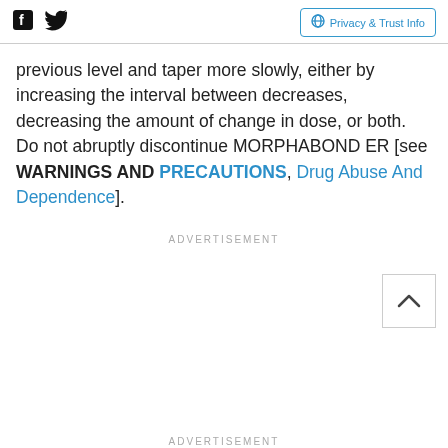Facebook Twitter | Privacy & Trust Info
previous level and taper more slowly, either by increasing the interval between decreases, decreasing the amount of change in dose, or both. Do not abruptly discontinue MORPHABOND ER [see WARNINGS AND PRECAUTIONS, Drug Abuse And Dependence].
ADVERTISEMENT
ADVERTISEMENT
Shop Online, Pickup Today World Market